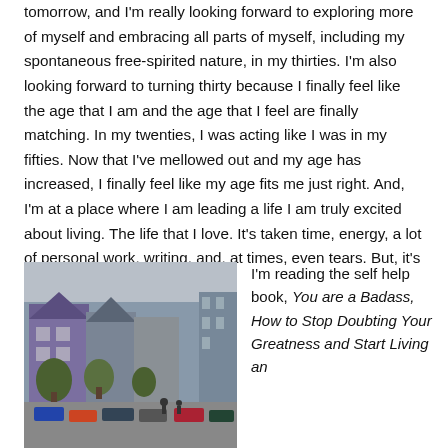tomorrow, and I'm really looking forward to exploring more of myself and embracing all parts of myself, including my spontaneous free-spirited nature, in my thirties. I'm also looking forward to turning thirty because I finally feel like the age that I am and the age that I feel are finally matching. In my twenties, I was acting like I was in my fifties. Now that I've mellowed out and my age has increased, I finally feel like my age fits me just right. And, I'm at a place where I am leading a life I am truly excited about living. The life that I love. It's taken time, energy, a lot of personal work, writing, and, at times, even tears. But, it's been worth it.
[Figure (photo): Street scene with purple/colorful buildings, parked cars, trees, overcast sky — appears to be a European town street.]
I'm reading the self help book, You are a Badass, How to Stop Doubting Your Greatness and Start Living an